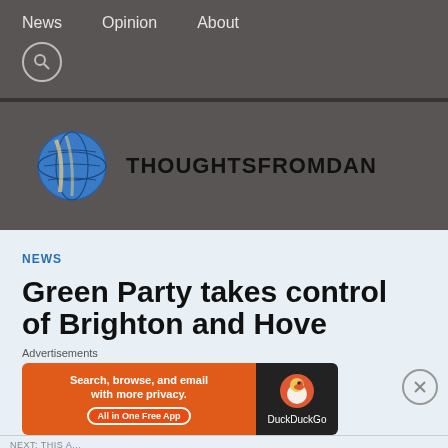News   Opinion   About
[Figure (logo): ThoughtsFromDan website logo: globe icon and bold text THOUGHTSFROMDAN]
NEWS
Green Party takes control of Brighton and Hove
[Figure (screenshot): DuckDuckGo advertisement banner: Search, browse, and email with more privacy. All in One Free App. DuckDuckGo logo on dark right side.]